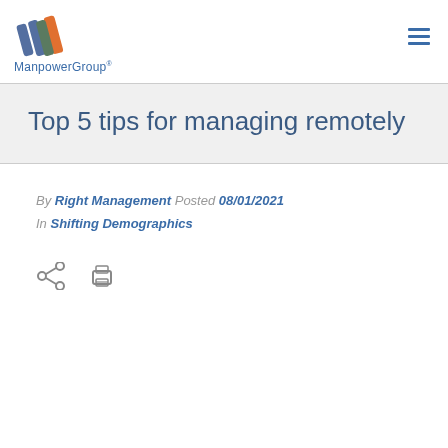[Figure (logo): ManpowerGroup logo with colorful diagonal stripe icon and company name text]
Top 5 tips for managing remotely
By Right Management Posted 08/01/2021 In Shifting Demographics
[Figure (other): Share and print icons]